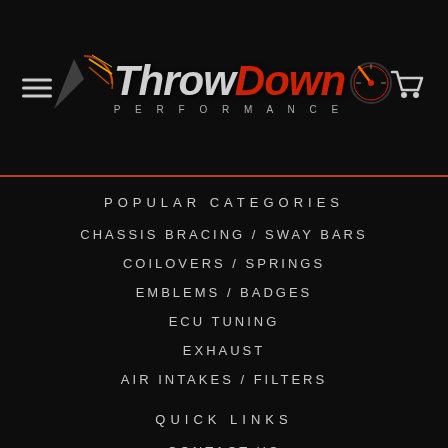[Figure (logo): ThrowDown Performance logo with speedometer graphic and italic stylized text]
POPULAR CATEGORIES
CHASSIS BRACING / SWAY BARS
COILOVERS / SPRINGS
EMBLEMS / BADGES
ECU TUNING
EXHAUST
AIR INTAKES / FILTERS
QUICK LINKS
CONTACT US
ABOUT US